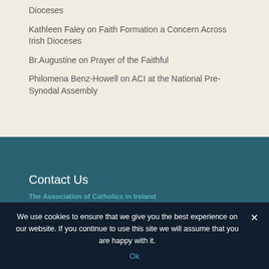Dioceses
Kathleen Faley on Faith Formation a Concern Across Irish Dioceses
Br.Augustine on Prayer of the Faithful
Philomena Benz-Howell on ACI at the National Pre-Synodal Assembly
Contact Us
The Association of Catholics in Ireland
c/o 41 Woodcliffe Village,
Howth,
Co Dublin
info@acireland.ie
We use cookies to ensure that we give you the best experience on our website. If you continue to use this site we will assume that you are happy with it.
Ok